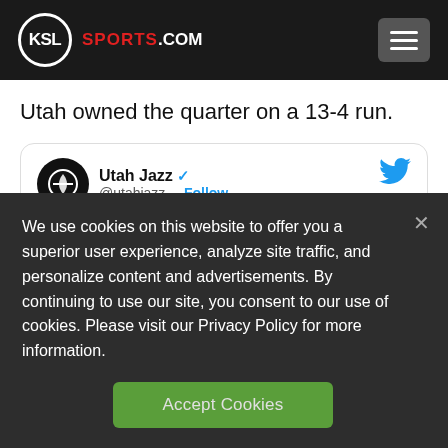KSL SPORTS.COM
Utah owned the quarter on a 13-4 run.
[Figure (screenshot): Embedded tweet from Utah Jazz (@utahjazz) with verified checkmark and Follow button. Tweet text reads: Burners ON! with a double arrow emoji and ON! text.]
We use cookies on this website to offer you a superior user experience, analyze site traffic, and personalize content and advertisements. By continuing to use our site, you consent to our use of cookies. Please visit our Privacy Policy for more information.